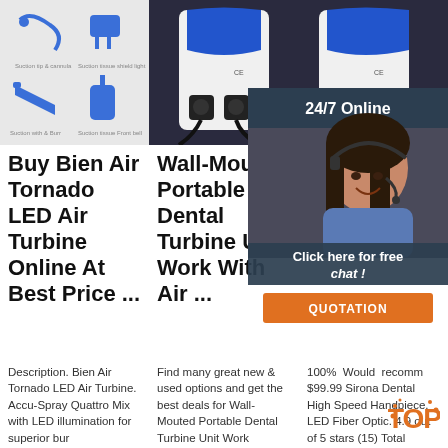[Figure (photo): Grid of three product images: dental handpiece parts diagram, portable dental turbine unit front view, portable dental turbine unit side view]
[Figure (photo): 24/7 Online chat overlay with woman wearing headset, Click here for free chat and QUOTATION button]
Buy Bien Air Tornado LED Air Turbine Online At Best Price ...
Wall-Mouted Portable Dental Turbine Unit Work With Air ...
Den... Han... s Fo...
Description. Bien Air Tornado LED Air Turbine. Accu-Spray Quattro Mix with LED illumination for superior bur
Find many great new & used options and get the best deals for Wall-Mouted Portable Dental Turbine Unit Work
100% ... Would ... recomm... $99.99... Sirona... Dental High Speed Handpiece, LED Fiber Optic. 4.9 out of 5 stars (15) Total Ratings 15, 100% agree -